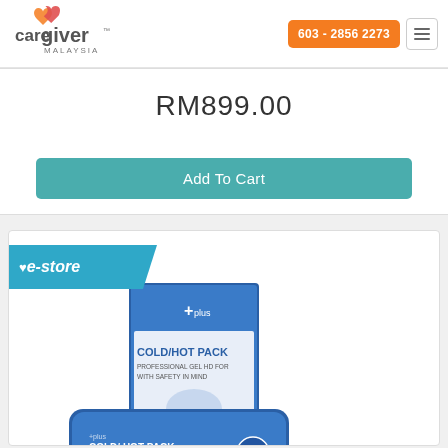[Figure (logo): Caregiver Malaysia logo with heart icon]
603 - 2856 2273
RM899.00
Add To Cart
[Figure (photo): Cold/Hot Pack product photo showing blue gel pack and packaging box with 'COLD/HOT PACK - PROFESSIONAL GEL HD WITH SAFETY IN MIND' text, with e-store ribbon badge]